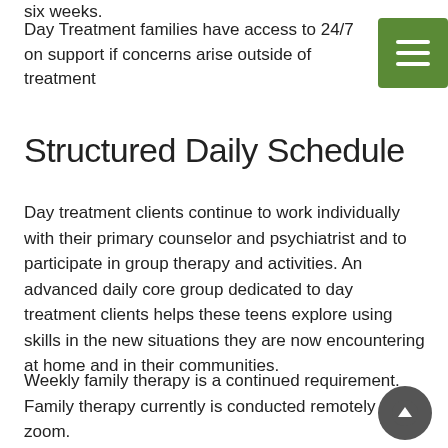six weeks.
Day Treatment families have access to 24/7 on support if concerns arise outside of treatment
Structured Daily Schedule
Day treatment clients continue to work individually with their primary counselor and psychiatrist and to participate in group therapy and activities. An advanced daily core group dedicated to day treatment clients helps these teens explore using skills in the new situations they are now encountering at home and in their communities.
Weekly family therapy is a continued requirement. Family therapy currently is conducted remotely via zoom.